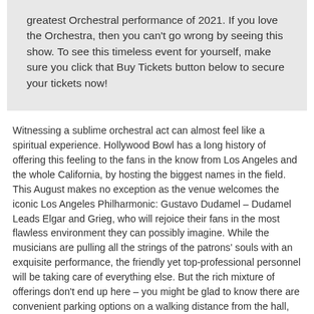greatest Orchestral performance of 2021. If you love the Orchestra, then you can't go wrong by seeing this show. To see this timeless event for yourself, make sure you click that Buy Tickets button below to secure your tickets now!
Witnessing a sublime orchestral act can almost feel like a spiritual experience. Hollywood Bowl has a long history of offering this feeling to the fans in the know from Los Angeles and the whole California, by hosting the biggest names in the field. This August makes no exception as the venue welcomes the iconic Los Angeles Philharmonic: Gustavo Dudamel – Dudamel Leads Elgar and Grieg, who will rejoice their fans in the most flawless environment they can possibly imagine. While the musicians are pulling all the strings of the patrons' souls with an exquisite performance, the friendly yet top-professional personnel will be taking care of everything else. But the rich mixture of offerings don't end up here – you might be glad to know there are convenient parking options on a walking distance from the hall, as well as some of the greatest restaurants in town. What better way to enter the